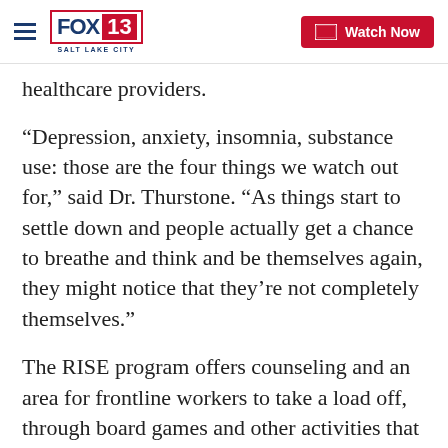FOX 13 Salt Lake City | Watch Now
healthcare providers.
“Depression, anxiety, insomnia, substance use: those are the four things we watch out for,” said Dr. Thurstone. “As things start to settle down and people actually get a chance to breathe and think and be themselves again, they might notice that they’re not completely themselves.”
The RISE program offers counseling and an area for frontline workers to take a load off, through board games and other activities that could help ameliorate the stressors they are experiencing elsewhere in the hospital.